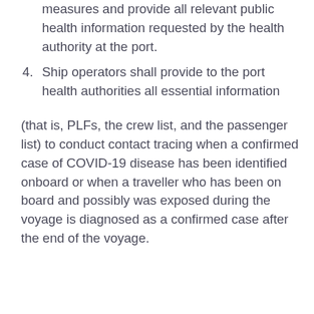measures and provide all relevant public health information requested by the health authority at the port.
4. Ship operators shall provide to the port health authorities all essential information
(that is, PLFs, the crew list, and the passenger list) to conduct contact tracing when a confirmed case of COVID-19 disease has been identified onboard or when a traveller who has been on board and possibly was exposed during the voyage is diagnosed as a confirmed case after the end of the voyage.